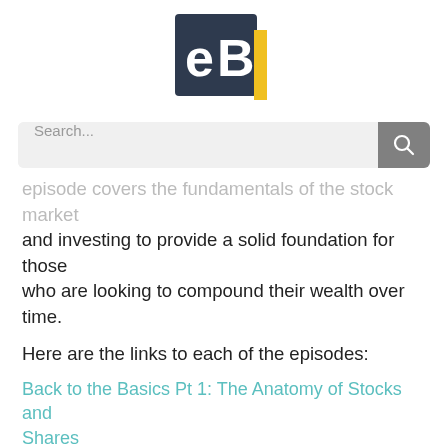[Figure (logo): eB logo — dark navy square with white 'eB' text and yellow accent bar on the right side]
Search...
episode covers the fundamentals of the stock market and investing to provide a solid foundation for those who are looking to compound their wealth over time.
Here are the links to each of the episodes:
Back to the Basics Pt 1: The Anatomy of Stocks and Shares
–Defining what a stock is
–Talk about the big 3: the cash flow statement, balance sheet, and income statement
–Earnings manipulation